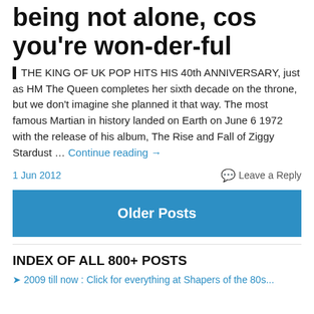being not alone, cos you're won-der-ful
THE KING OF UK POP HITS HIS 40th ANNIVERSARY, just as HM The Queen completes her sixth decade on the throne, but we don't imagine she planned it that way. The most famous Martian in history landed on Earth on June 6 1972 with the release of his album, The Rise and Fall of Ziggy Stardust … Continue reading →
1 Jun 2012    Leave a Reply
Older Posts
INDEX OF ALL 800+ POSTS
➤ 2009 till now : Click for everything at Shapers of the 80s...